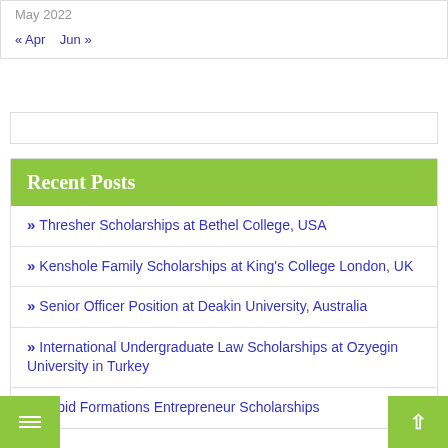May 2022
« Apr   Jun »
Recent Posts
Thresher Scholarships at Bethel College, USA
Kenshole Family Scholarships at King's College London, UK
Senior Officer Position at Deakin University, Australia
International Undergraduate Law Scholarships at Ozyegin University in Turkey
Rapid Formations Entrepreneur Scholarships